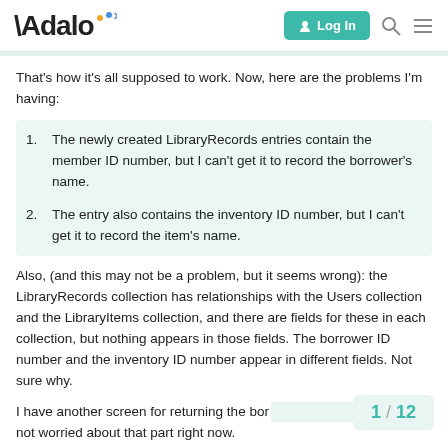Adalo — Log In
That's how it's all supposed to work. Now, here are the problems I'm having:
The newly created LibraryRecords entries contain the member ID number, but I can't get it to record the borrower's name.
The entry also contains the inventory ID number, but I can't get it to record the item's name.
Also, (and this may not be a problem, but it seems wrong): the LibraryRecords collection has relationships with the Users collection and the LibraryItems collection, and there are fields for these in each collection, but nothing appears in those fields. The borrower ID number and the inventory ID number appear in different fields. Not sure why.
I have another screen for returning the bor not worried about that part right now.
1 / 12